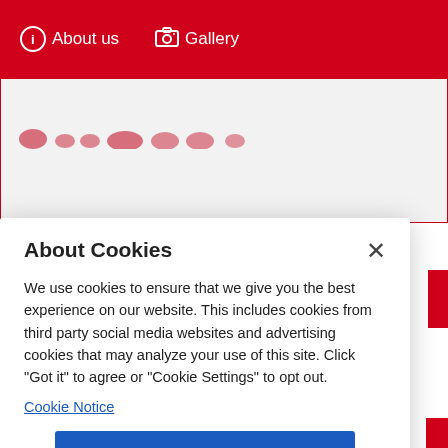About us  Gallery
[Figure (screenshot): Background website content partially visible behind the cookie consent modal dialog, showing a red navigation bar and page content area]
About Cookies
We use cookies to ensure that we give you the best experience on our website. This includes cookies from third party social media websites and advertising cookies that may analyze your use of this site. Click "Got it" to agree or "Cookie Settings" to opt out.
Cookie Notice
Got It
Cookies Settings